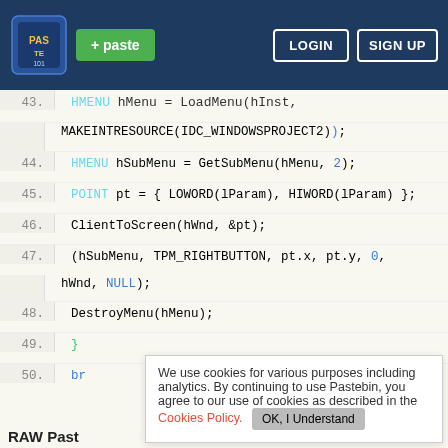Pastebin header with logo, paste button, LOGIN and SIGN UP buttons
[Figure (screenshot): Code viewer showing C++ lines 43-50 with syntax highlighting]
We use cookies for various purposes including analytics. By continuing to use Pastebin, you agree to our use of cookies as described in the Cookies Policy. OK, I Understand
RAW Past
[Figure (screenshot): Raw paste code view showing C++ code starting with // ENAB, case ID, { and HMENU hMenu = GetMenu(hWnd);]
Not a member of Pastebin yet? Sign Up, it unlocks many cool features!